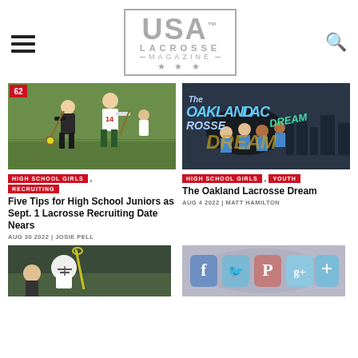USA LACROSSE MAGAZINE
[Figure (photo): Girls high school lacrosse action photo — two players competing on a green turf field]
[Figure (photo): The Oakland Lacrosse Dream — promotional photo with players and stylized graffiti text]
HIGH SCHOOL GIRLS , RECRUITING
Five Tips for High School Juniors as Sept. 1 Lacrosse Recruiting Date Nears
AUG 30 2022 | JOSIE PELL
HIGH SCHOOL GIRLS , YOUTH
The Oakland Lacrosse Dream
AUG 4 2022 | MATT HAMILTON
[Figure (photo): Lacrosse player in white helmet with yellow lacrosse stick, outdoor field]
[Figure (screenshot): Social media share buttons — Facebook, Twitter, Pinterest, Google+, and plus button]